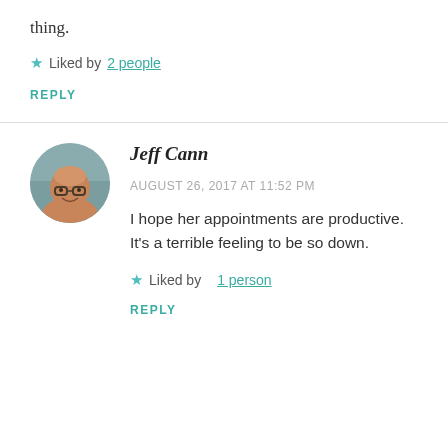thing.
Liked by 2 people
REPLY
[Figure (photo): Circular avatar photo of Jeff Cann, a bald man with glasses, smiling]
Jeff Cann
AUGUST 26, 2017 AT 11:52 PM
I hope her appointments are productive. It's a terrible feeling to be so down.
Liked by 1 person
REPLY